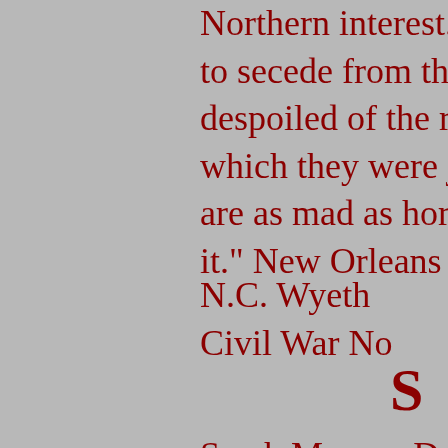Northern interest... These to secede from the Union despoiled of the rich fea which they were just gett are as mad as hornets be it." New Orleans Daily C
N.C. Wyeth Civil War No
S
Sarah Morgan Dawson w diary she kept during th 1865, Dawson recorded detailed accounts of civi